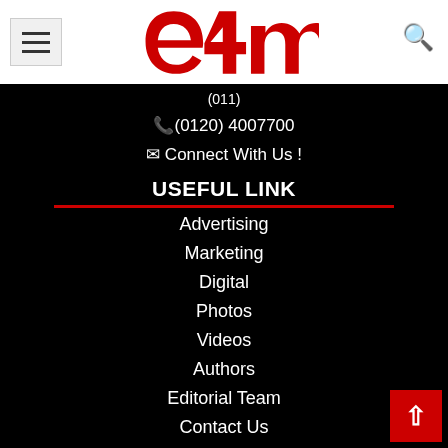[Figure (logo): e4m website header with hamburger menu, e4m red logo, and search icon]
(011)
(0120) 4007700
Connect With Us !
USEFUL LINK
Advertising
Marketing
Digital
Photos
Videos
Authors
Editorial Team
Contact Us